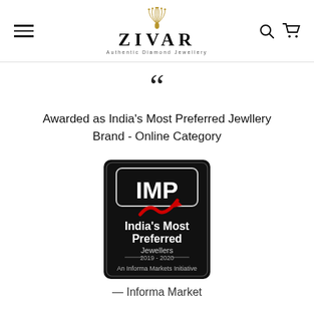Zivar — Authentic Diamond Jewellery
““
Awarded as India's Most Preferred Jewllery Brand - Online Category
[Figure (logo): IMP India's Most Preferred Jewellers 2019-2020 An Informa Markets Initiative badge on black background]
— Informa Market